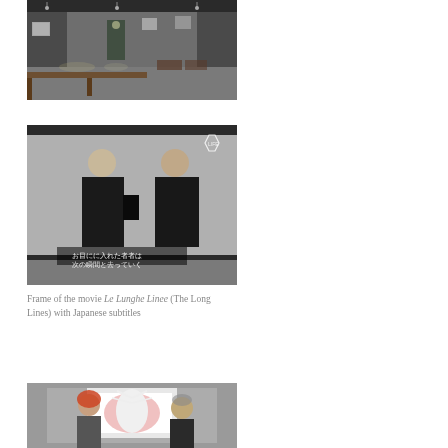[Figure (photo): Interior of a gallery/exhibition space with dark walls, artworks hung on walls, a long table, and spotlighting.]
[Figure (photo): Black and white film still of two men in suits, one presenting something to the other. Japanese subtitles visible at bottom. A small logo in upper right corner.]
Frame of the movie Le Lunghe Linee (The Long Lines) with Japanese subtitles
[Figure (photo): Two people standing in front of a framed artwork display; one appears to be a woman with red hair and the other an elderly man.]